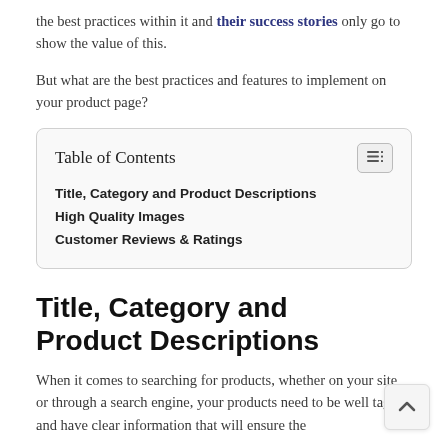the best practices within it and their success stories only go to show the value of this.
But what are the best practices and features to implement on your product page?
| Table of Contents |
| --- |
| Title, Category and Product Descriptions |
| High Quality Images |
| Customer Reviews & Ratings |
Title, Category and Product Descriptions
When it comes to searching for products, whether on your site or through a search engine, your products need to be well tagged and have clear information that will ensure the